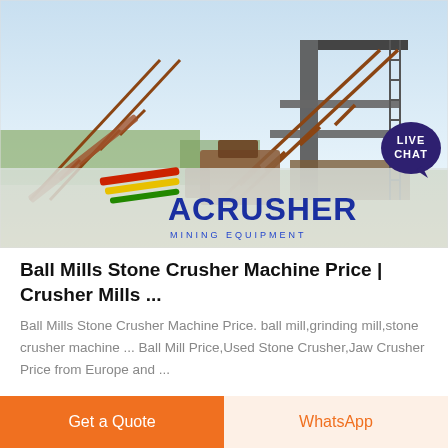[Figure (photo): Industrial mining equipment / stone crusher plant with conveyor belts and steel structures, with ACRUSHER Mining Equipment logo overlay at the bottom of the image. A 'LIVE CHAT' speech bubble badge appears in the top-right corner.]
Ball Mills Stone Crusher Machine Price | Crusher Mills ...
Ball Mills Stone Crusher Machine Price. ball mill,grinding mill,stone crusher machine ... Ball Mill Price,Used Stone Crusher,Jaw Crusher Price from Europe and ...